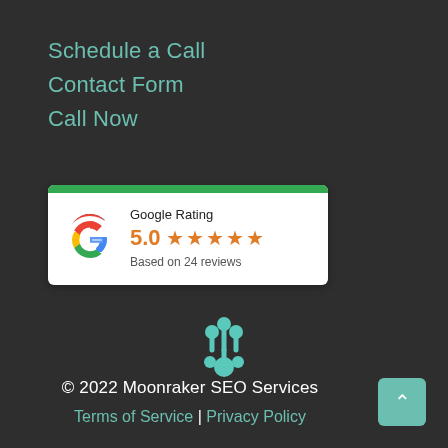Schedule a Call
Contact Form
Call Now
[Figure (other): Google Rating card showing 5.0 stars based on 24 reviews, with Google G logo and green top bar]
[Figure (logo): Moonraker SEO Services teal decorative logo icon]
© 2022 Moonraker SEO Services
Terms of Service | Privacy Policy